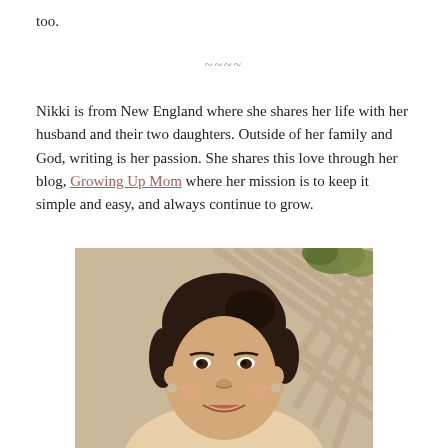too.
~~~~
Nikki is from New England where she shares her life with her husband and their two daughters. Outside of her family and God, writing is her passion. She shares this love through her blog, Growing Up Mom where her mission is to keep it simple and easy, and always continue to grow.
[Figure (photo): Portrait photo of Nikki, a woman with dark hair pulled back, smiling, wearing earrings, with a decorative background.]